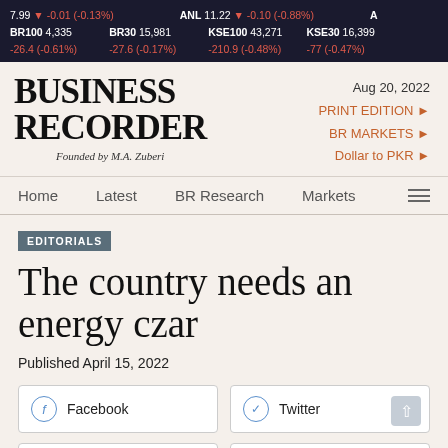7.99 ▼ -0.01 (-0.13%)   ANL 11.22 ▼ -0.10 (-0.88%)   BR100 4,335 -26.4 (-0.61%)   BR30 15,981 -27.6 (-0.17%)   KSE100 43,271 -210.9 (-0.48%)   KSE30 16,399 -77 (-0.47%)
[Figure (logo): Business Recorder logo with text 'BUSINESS RECORDER' and 'Founded by M.A. Zuberi']
Aug 20, 2022
PRINT EDITION ►
BR MARKETS ►
Dollar to PKR ►
Home   Latest   BR Research   Markets
EDITORIALS
The country needs an energy czar
Published April 15, 2022
Facebook   Twitter   Whatsapp   Comments